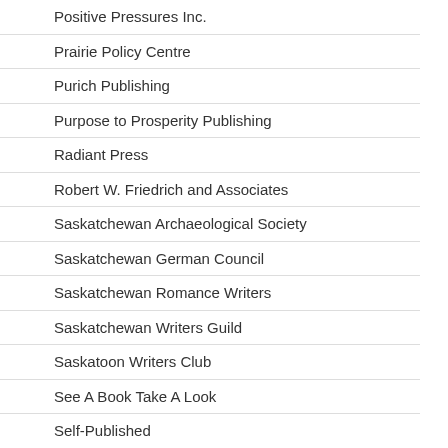Positive Pressures Inc.
Prairie Policy Centre
Purich Publishing
Purpose to Prosperity Publishing
Radiant Press
Robert W. Friedrich and Associates
Saskatchewan Archaeological Society
Saskatchewan German Council
Saskatchewan Romance Writers
Saskatchewan Writers Guild
Saskatoon Writers Club
See A Book Take A Look
Self-Published
Serimuse Books
Shadowpaw Press
Sharla Griffiths
Soul Food Publishing
The Friends of St. Victor Petroglyphs